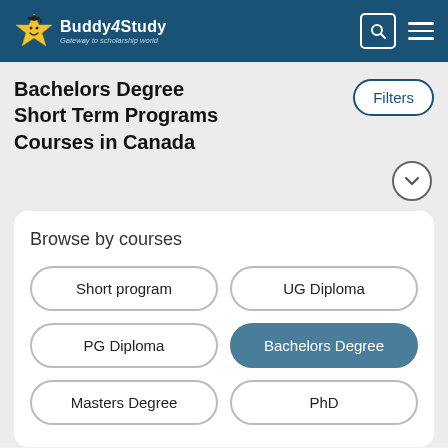Buddy4Study – Gateway to scholarship world
Bachelors Degree Short Term Programs Courses in Canada
Filters
Browse by courses
Short program
UG Diploma
PG Diploma
Bachelors Degree
Masters Degree
PhD
Request Counselling